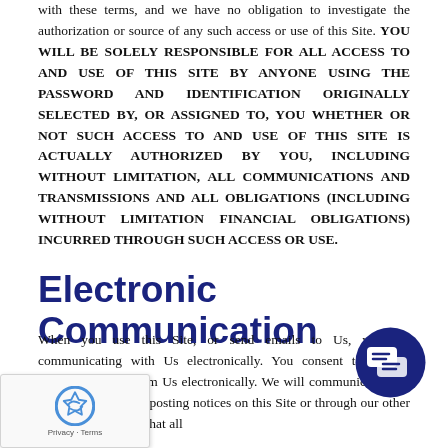with these terms, and we have no obligation to investigate the authorization or source of any such access or use of this Site. YOU WILL BE SOLELY RESPONSIBLE FOR ALL ACCESS TO AND USE OF THIS SITE BY ANYONE USING THE PASSWORD AND IDENTIFICATION ORIGINALLY SELECTED BY, OR ASSIGNED TO, YOU WHETHER OR NOT SUCH ACCESS TO AND USE OF THIS SITE IS ACTUALLY AUTHORIZED BY YOU, INCLUDING WITHOUT LIMITATION, ALL COMMUNICATIONS AND TRANSMISSIONS AND ALL OBLIGATIONS (INCLUDING WITHOUT LIMITATION FINANCIAL OBLIGATIONS) INCURRED THROUGH SUCH ACCESS OR USE.
Electronic Communication
When you use this Site, or send emails to Us, you are communicating with Us electronically. You consent to receive communications from Us electronically. We will communicate with you by e-mail or by posting notices on this Site or through our other services. You agree that all